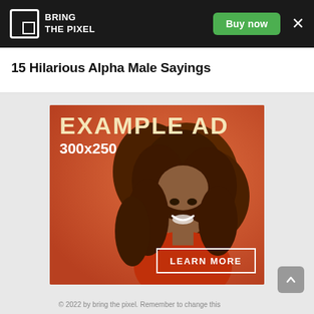BRING THE PIXEL | Buy now
15 Hilarious Alpha Male Sayings
[Figure (illustration): Example advertisement banner 300x250 showing a smiling woman with curly hair on an orange background, with 'EXAMPLE AD' text, '300x250' dimensions label, and a 'LEARN MORE' button.]
© 2022 by bring the pixel. Remember to change this